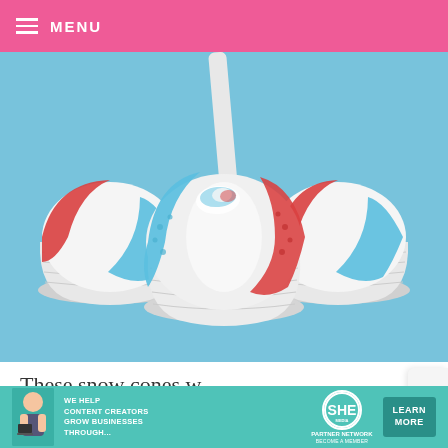MENU
[Figure (photo): Three red, white, and blue snow cone cupcakes in silver foil cups on a blue background, with plastic spoons. The middle one is held up close to the camera showing blue, white, and red colored sugar crystals.]
These snow cones w icy... but they are fr
They're snow cone c fun to make.
[Figure (infographic): Bottom advertisement banner: 'WE HELP CONTENT CREATORS GROW BUSINESSES THROUGH...' with SHE PARTNER NETWORK logo and LEARN MORE button.]